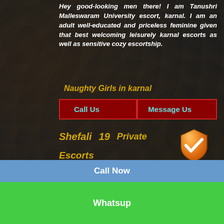Hey good-looking men there! I am Tanushri Malleswaram University escort, karnal. I am an adult well-educated and priceless feminine given that best welcoming leisurely karnal escorts as well as sensitive cozy escortship.
Naughty Girls in karnal
Call Us   Message Us
Shefali  19       Private Escorts karnal
My name is Sanu reddy 23 years of ages Lady from karnal. I am working in a 5 celebrity resort as an assistant. I m available as a Nandi hills Escorts sought after. Come enjoy with sheen
Call Now
Whatsup